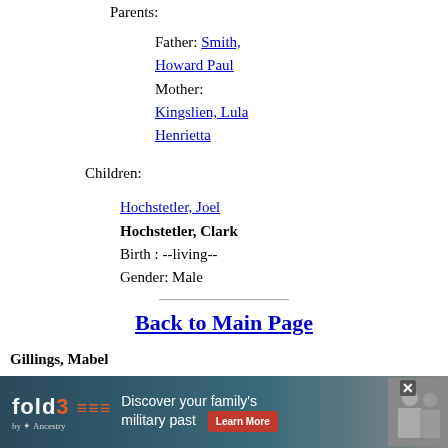Parents:
Father: Smith, Howard Paul
Mother: Kingslien, Lula Henrietta
Children:
Hochstetler, Joel
Hochstetler, Clark
Birth : --living--
Gender: Male
Back to Main Page
Gillings, Mabel
Birth : --living--
Gender: Female
Family:
[Figure (other): Fold3 by Ancestry advertisement banner - Discover your family's military past. Learn More button with photo of military personnel.]